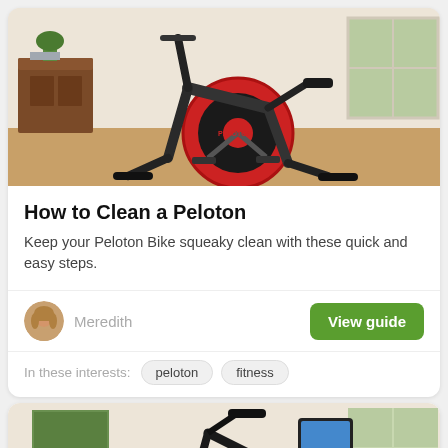[Figure (photo): Peloton exercise bike in a home setting with wooden furniture and window in background]
How to Clean a Peloton
Keep your Peloton Bike squeaky clean with these quick and easy steps.
[Figure (photo): Author avatar - woman with blonde hair]
Meredith
View guide
In these interests:
peloton
fitness
[Figure (photo): Peloton bike with tablet screen showing content, in a bright home room with large windows]